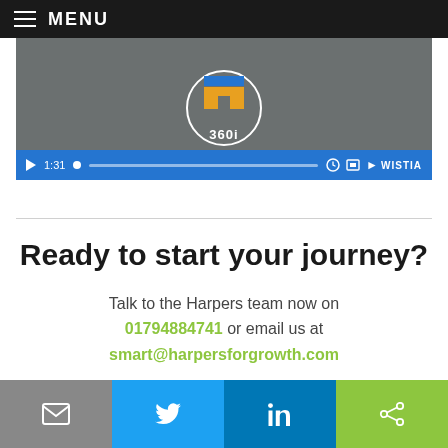MENU
[Figure (screenshot): Video player showing 360i logo on gray background with blue playback controls bar showing 1:31 timestamp and Wistia branding]
Ready to start your journey?
Talk to the Harpers team now on 01794884741 or email us at smart@harpersforgrowth.com
[Figure (infographic): Social share bar with four buttons: email (gray), Twitter (blue), LinkedIn (dark blue), share (green)]